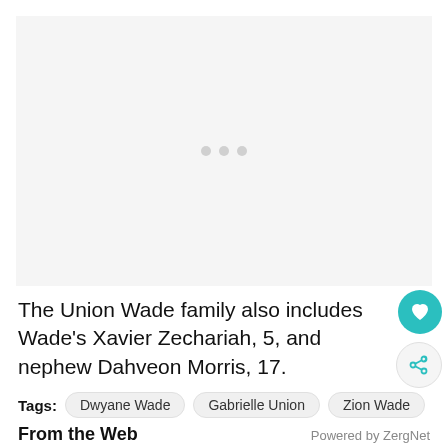[Figure (other): Advertisement placeholder with three grey dots in the center on a light grey background]
The Union Wade family also includes Wade's Xavier Zechariah, 5, and nephew Dahveon Morris, 17.
Tags: Dwyane Wade  Gabrielle Union  Zion Wade
From the Web  Powered by ZergNet